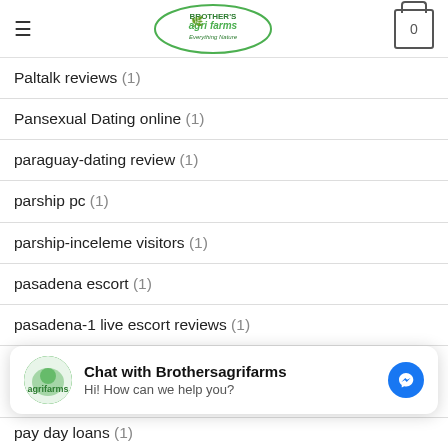Brother's Agri Farms – Everything Nature
Paltalk reviews (1)
Pansexual Dating online (1)
paraguay-dating review (1)
parship pc (1)
parship-inceleme visitors (1)
pasadena escort (1)
pasadena-1 live escort reviews (1)
Chat with Brothersagrifarms – Hi! How can we help you?
pay day loans (1)